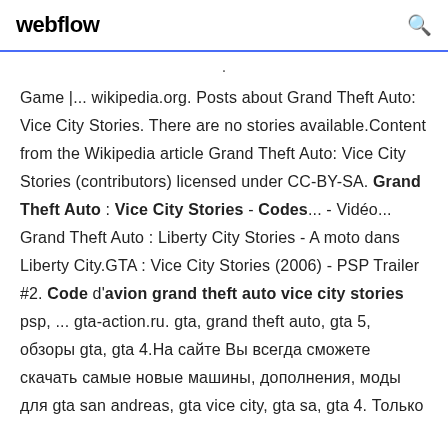webflow
· Game |... wikipedia.org. Posts about Grand Theft Auto: Vice City Stories. There are no stories available.Content from the Wikipedia article Grand Theft Auto: Vice City Stories (contributors) licensed under CC-BY-SA. Grand Theft Auto : Vice City Stories - Codes... - Vidéo... Grand Theft Auto : Liberty City Stories - A moto dans Liberty City.GTA : Vice City Stories (2006) - PSP Trailer #2. Code d'avion grand theft auto vice city stories psp, ... gta-action.ru. gta, grand theft auto, gta 5, обзоры gta, gta 4.На сайте Вы всегда сможете скачать самые новые машины, дополнения, моды для gta san andreas, gta vice city, gta sa, gta 4. Только